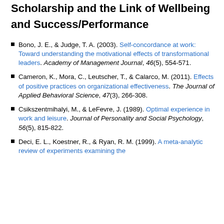Scholarship and the Link of Wellbeing and Success/Performance
Bono, J. E., & Judge, T. A. (2003). Self-concordance at work: Toward understanding the motivational effects of transformational leaders. Academy of Management Journal, 46(5), 554-571.
Cameron, K., Mora, C., Leutscher, T., & Calarco, M. (2011). Effects of positive practices on organizational effectiveness. The Journal of Applied Behavioral Science, 47(3), 266-308.
Csikszentmihalyi, M., & LeFevre, J. (1989). Optimal experience in work and leisure. Journal of Personality and Social Psychology, 56(5), 815-822.
Deci, E. L., Koestner, R., & Ryan, R. M. (1999). A meta-analytic review of experiments examining the...